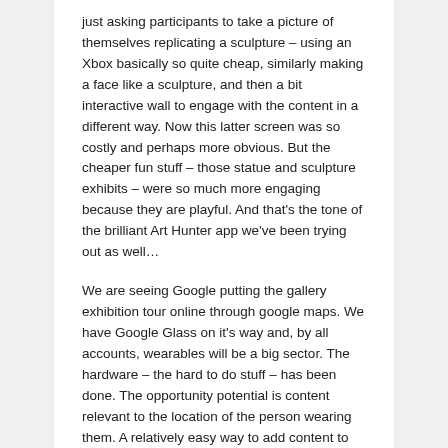just asking participants to take a picture of themselves replicating a sculpture – using an Xbox basically so quite cheap, similarly making a face like a sculpture, and then a bit interactive wall to engage with the content in a different way. Now this latter screen was so costly and perhaps more obvious. But the cheaper fun stuff – those statue and sculpture exhibits – were so much more engaging because they are playful. And that's the tone of the brilliant Art Hunter app we've been trying out as well…
We are seeing Google putting the gallery exhibition tour online through google maps. We have Google Glass on it's way and, by all accounts, wearables will be a big sector. The hardware – the hard to do stuff – has been done. The opportunity potential is content relevant to the location of the person wearing them. A relatively easy way to add content to the user experience.
And there's a project called Google Tango, which uses 3D sensors to measure the space around you… making it much easier to put a layer of interactive content around it.